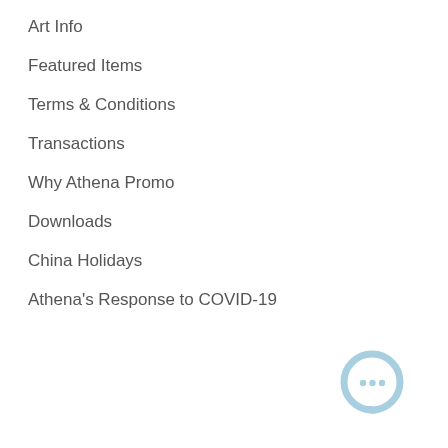Art Info
Featured Items
Terms & Conditions
Transactions
Why Athena Promo
Downloads
China Holidays
Athena's Response to COVID-19
[Figure (logo): Chat bubble icon in light blue, circular with a small face/dots inside and a tail pointing right-downward]